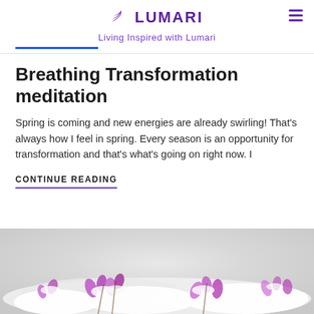Lumari — Living Inspired with Lumari
Breathing Transformation meditation
Spring is coming and new energies are already swirling! That’s always how I feel in spring. Every season is an opportunity for transformation and that’s what’s going on right now. I
CONTINUE READING
[Figure (photo): Photo of pink/purple flowers dusted with snow against a light background]